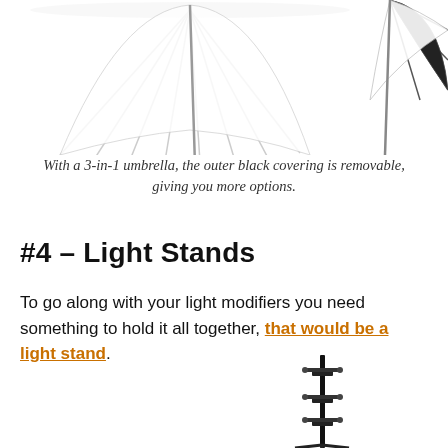[Figure (photo): Two photography umbrellas side by side — a white translucent umbrella on the left and a black/white umbrella on the right, partially cropped at the top of the page.]
With a 3-in-1 umbrella, the outer black covering is removable, giving you more options.
#4 – Light Stands
To go along with your light modifiers you need something to hold it all together, that would be a light stand.
[Figure (photo): Two black photography light stands shown side by side. An orange annotation text reads 'Hang a sandbag here for added stability' pointing to the lower section of the stands.]